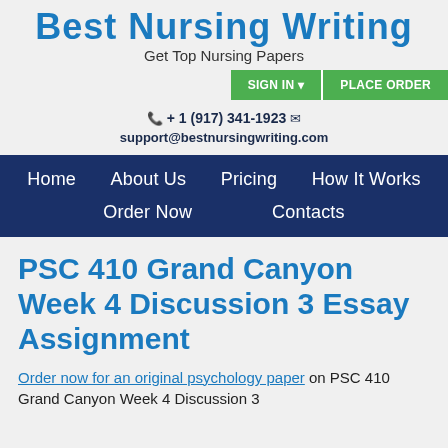Best Nursing Writing — Get Top Nursing Papers
+ 1 (917) 341-1923   support@bestnursingwriting.com
Home   About Us   Pricing   How It Works   Order Now   Contacts
PSC 410 Grand Canyon Week 4 Discussion 3 Essay Assignment
Order now for an original psychology paper on PSC 410 Grand Canyon Week 4 Discussion 3